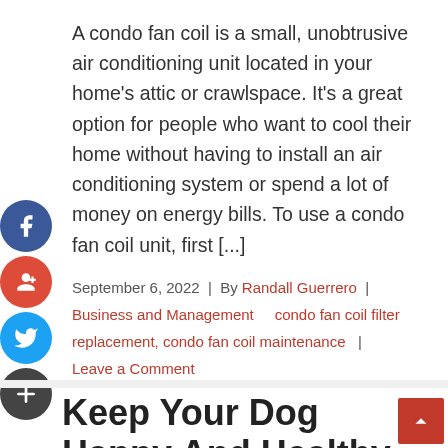A condo fan coil is a small, unobtrusive air conditioning unit located in your home's attic or crawlspace. It's a great option for people who want to cool their home without having to install an air conditioning system or spend a lot of money on energy bills. To use a condo fan coil unit, first [...]
September 6, 2022  |  By Randall Guerrero  |  Business and Management    |  condo fan coil filter replacement, condo fan coil maintenance  |  Leave a Comment
Keep Your Dog Happy And Healthy With